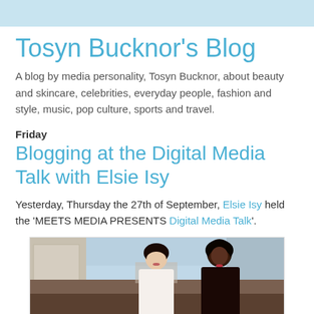Tosyn Bucknor's Blog
A blog by media personality, Tosyn Bucknor, about beauty and skincare, celebrities, everyday people, fashion and style, music, pop culture, sports and travel.
Friday
Blogging at the Digital Media Talk with Elsie Isy
Yesterday, Thursday the 27th of September, Elsie Isy held the 'MEETS MEDIA PRESENTS Digital Media Talk'.
[Figure (photo): Two women posing together at an event venue, likely the Digital Media Talk event. The woman on the left is wearing white, the woman on the right is wearing dark clothing. Indoor event setting with warm lighting visible in the background.]